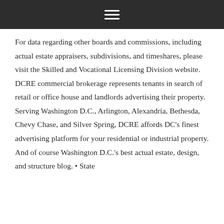≡
For data regarding other boards and commissions, including actual estate appraisers, subdivisions, and timeshares, please visit the Skilled and Vocational Licensing Division website. DCRE commercial brokerage represents tenants in search of retail or office house and landlords advertising their property. Serving Washington D.C., Arlington, Alexandria, Bethesda, Chevy Chase, and Silver Spring, DCRE affords DC's finest advertising platform for your residential or industrial property. And of course Washington D.C.'s best actual estate, design, and structure blog. • State